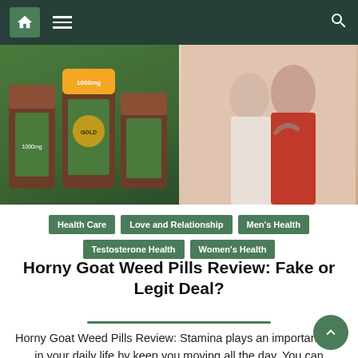[Figure (screenshot): Website navigation bar with home icon, hamburger menu, and search icon on dark green background]
[Figure (photo): Hero image showing supplement bottles on left and a couple on right]
Health Care
Love and Relationship
Men's Health
Testosterone Health
Women's Health
Horny Goat Weed Pills Review: Fake or Legit Deal?
Horny Goat Weed Pills Review: Stamina plays an important role in your daily life by keep you moving all the day. You can increased it by reading this.
January 21, 2019   Team Platinum   Comment(0)